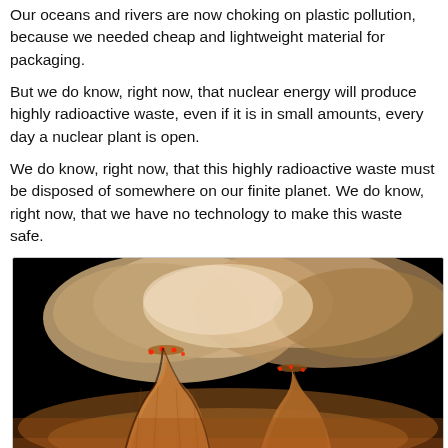Our oceans and rivers are now choking on plastic pollution, because we needed cheap and lightweight material for packaging.
But we do know, right now, that nuclear energy will produce highly radioactive waste, even if it is in small amounts, every day a nuclear plant is open.
We do know, right now, that this highly radioactive waste must be disposed of somewhere on our finite planet. We do know, right now, that we have no technology to make this waste safe.
[Figure (photo): Photograph of nuclear power plant cooling towers at night or low light, showing two large hyperbolic cooling towers glowing orange/amber, with small red warning lights visible along the rims, and large billowing steam clouds above them backlit in orange and white tones against a black background.]